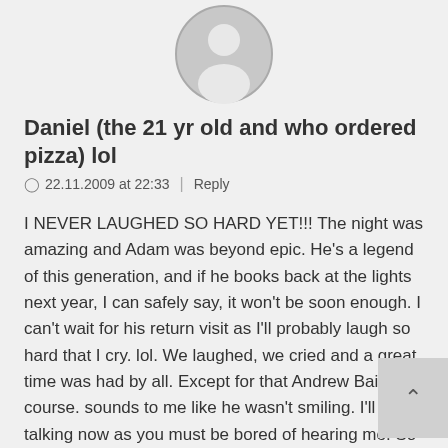[Figure (photo): Circular generic user avatar icon with gray silhouette on light gray background]
Daniel (the 21 yr old and who ordered pizza) lol
22.11.2009 at 22:33  |  Reply
I NEVER LAUGHED SO HARD YET!!! The night was amazing and Adam was beyond epic. He's a legend of this generation, and if he books back at the lights next year, I can safely say, it won't be soon enough. I can't wait for his return visit as I'll probably laugh so hard that I cry. lol. We laughed, we cried and a great time was had by all. Except for that Andrew Bailey of course. sounds to me like he wasn't smiling. I'll stop talking now as you must be bored of hearing me. So I'll finish by saying,